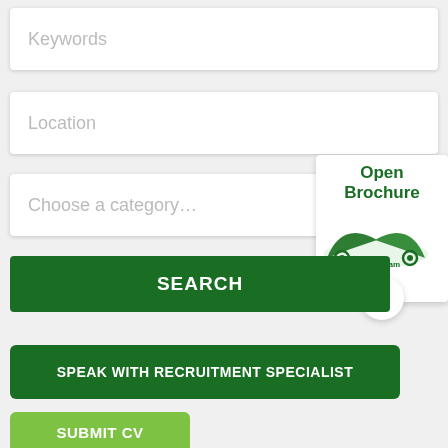Keywords
Location
Choose a category...
[Figure (screenshot): Open Brochure panel with Buckingham College logo and play button]
SEARCH
SPEAK WITH RECRUITMENT SPECIALIST
SUBMIT CV